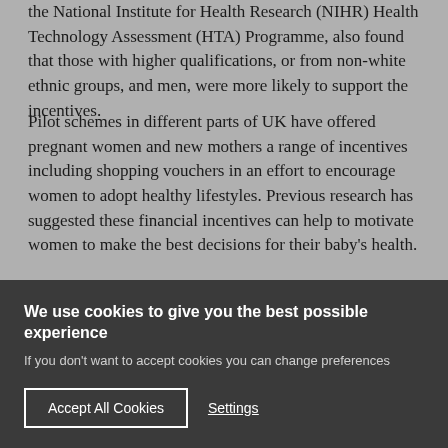the National Institute for Health Research (NIHR) Health Technology Assessment (HTA) Programme, also found that those with higher qualifications, or from non-white ethnic groups, and men, were more likely to support the incentives.
Pilot schemes in different parts of UK have offered pregnant women and new mothers a range of incentives including shopping vouchers in an effort to encourage women to adopt healthy lifestyles. Previous research has suggested these financial incentives can help to motivate women to make the best decisions for their baby's health.
This study examined existing research to consider what made it...
We use cookies to give you the best possible experience
If you don't want to accept cookies you can change preferences